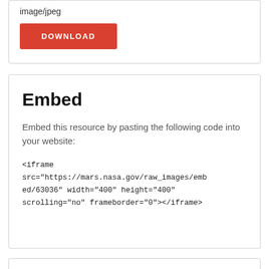image/jpeg
DOWNLOAD
Embed
Embed this resource by pasting the following code into your website:
<iframe src="https://mars.nasa.gov/raw_images/embed/63036" width="400" height="400" scrolling="no" frameborder="0"></iframe>
More Like This